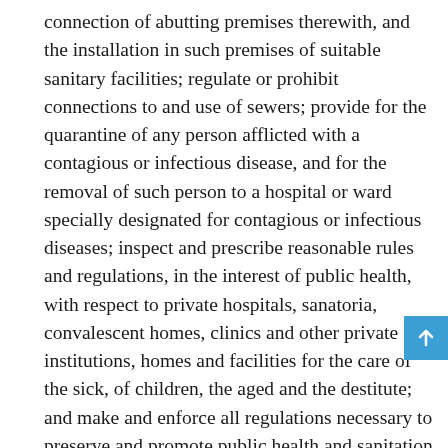connection of abutting premises therewith, and the installation in such premises of suitable sanitary facilities; regulate or prohibit connections to and use of sewers; provide for the quarantine of any person afflicted with a contagious or infectious disease, and for the removal of such person to a hospital or ward specially designated for contagious or infectious diseases; inspect and prescribe reasonable rules and regulations, in the interest of public health, with respect to private hospitals, sanatoria, convalescent homes, clinics and other private institutions, homes and facilities for the care of the sick, of children, the aged and the destitute; and make and enforce all regulations necessary to preserve and promote public health and sanitation and protect the inhabitants of the city from contagious, infectious or other diseases.
(i) To regulate cemeteries and burials therein, prescribe the records to be kept by the owners of such cemeteries, and prohibit all burials except in a public burying